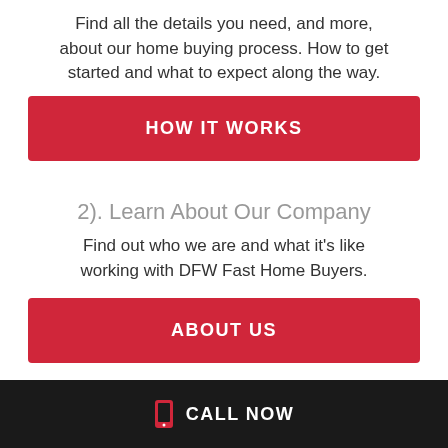Find all the details you need, and more, about our home buying process. How to get started and what to expect along the way.
[Figure (other): Red button labeled HOW IT WORKS]
2). Learn About Our Company
Find out who we are and what it’s like working with DFW Fast Home Buyers.
[Figure (other): Red button labeled ABOUT US]
CALL NOW